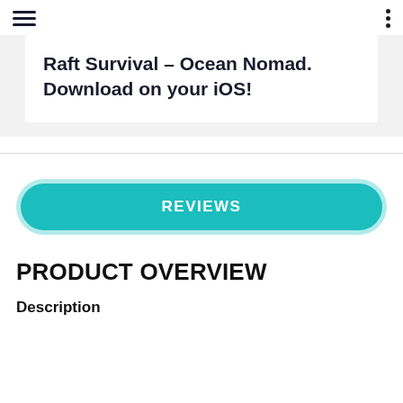Raft Survival – Ocean Nomad. Download on your iOS!
REVIEWS
PRODUCT OVERVIEW
Description